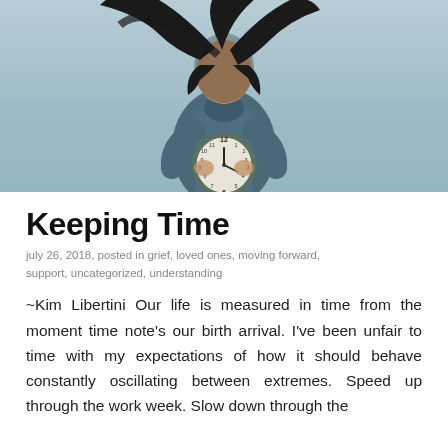[Figure (photo): Woman in denim jacket holding a round clock, hair blowing in the wind, set against a pale blue-grey background]
Keeping Time
july 26, 2018, posted in grief, loved ones, moving forward, support, uncategorized, understanding
~Kim Libertini Our life is measured in time from the moment time note's our birth arrival. I've been unfair to time with my expectations of how it should behave constantly oscillating between extremes. Speed up through the work week. Slow down through the